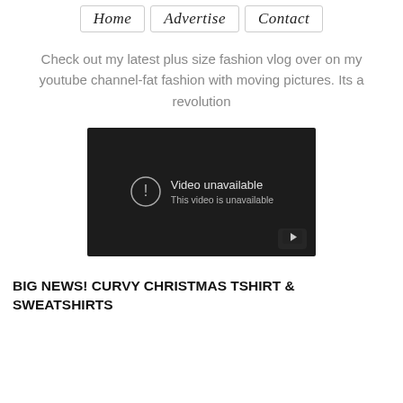Home  Advertise  Contact
Check out my latest plus size fashion vlog over on my youtube channel-fat fashion with moving pictures. Its a revolution
[Figure (screenshot): Embedded YouTube video player showing 'Video unavailable / This video is unavailable' message on a dark background with a YouTube logo button in the bottom right corner.]
BIG NEWS! CURVY CHRISTMAS TSHIRT & SWEATSHIRTS